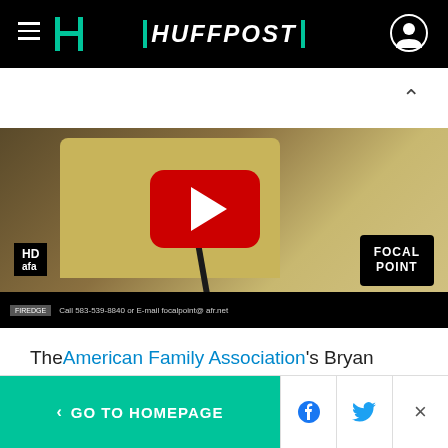HUFFPOST
[Figure (screenshot): YouTube video thumbnail showing a man in a yellow shirt at a radio microphone. The video has a red YouTube play button overlay. Bottom bar shows 'HD afa' logo on left, 'FOCAL POINT' badge on right, and text 'Call 583-539-8840 or E-mail focalpoint@afr.net']
The American Family Association's Bryan Fischer has never minced words over his opposition to same-sex marriage, but his latest rant could very
< GO TO HOMEPAGE